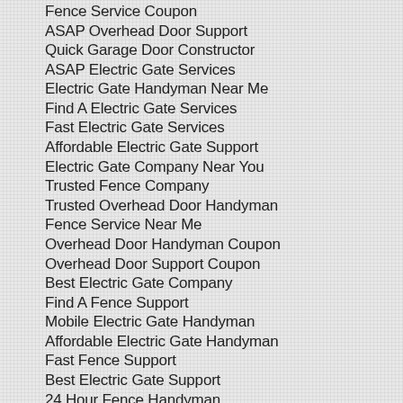Fence Service Coupon
ASAP Overhead Door Support
Quick Garage Door Constructor
ASAP Electric Gate Services
Electric Gate Handyman Near Me
Find A Electric Gate Services
Fast Electric Gate Services
Affordable Electric Gate Support
Electric Gate Company Near You
Trusted Fence Company
Trusted Overhead Door Handyman
Fence Service Near Me
Overhead Door Handyman Coupon
Overhead Door Support Coupon
Best Electric Gate Company
Find A Fence Support
Mobile Electric Gate Handyman
Affordable Electric Gate Handyman
Fast Fence Support
Best Electric Gate Support
24 Hour Fence Handyman
ASAP Fence Handyman
Overhead Door Handyman Prices
Electric Gate Company Near Me
Local Overhead Door Service
Garage Door Service Handyman